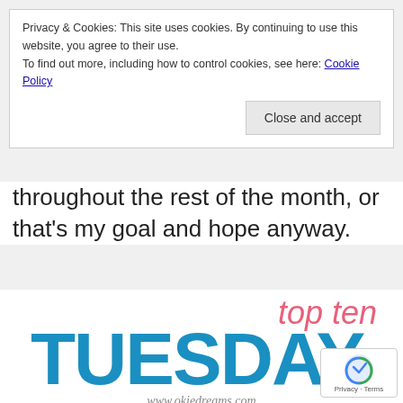Privacy & Cookies: This site uses cookies. By continuing to use this website, you agree to their use.
To find out more, including how to control cookies, see here: Cookie Policy
Close and accept
throughout the rest of the month, or that's my goal and hope anyway.
[Figure (logo): Top Ten Tuesday logo with pink 'top ten' text above large blue 'TUESDAY' text and www.okiedreams.com below]